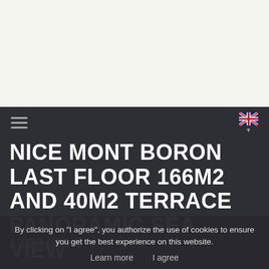[Figure (photo): Top portion of a real estate website showing a property photo area (mostly white/light, cropped)]
Navigation bar with hamburger menu icon on left and UK flag language selector with dropdown arrow on right
NICE MONT BORON LAST FLOOR 166M2 AND 40M2 TERRACE PANORAMIC SEA VIEW
1,950,000 €
By clicking on "I agree", you authorize the use of cookies to ensure you get the best experience on this website.
Learn more    I agree